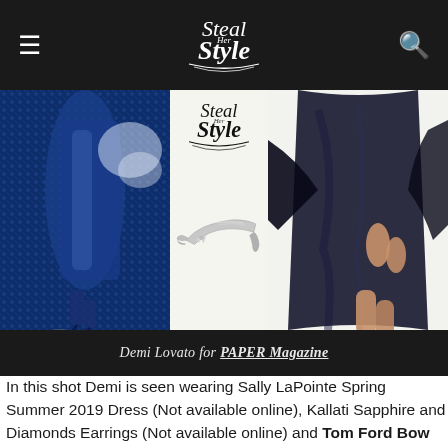Steal Her Style
[Figure (photo): Collage: left panel shows Demi Lovato in blue sequin outfit with high heels; center panel shows Steal Her Style logo and silver Tom Ford bow pump shoe product shot on white background; right panel shows navy blue silk/satin dress from a fashion editorial]
Demi Lovato for PAPER Magazine
In this shot Demi is seen wearing Sally LaPointe Spring Summer 2019 Dress (Not available online), Kallati Sapphire and Diamonds Earrings (Not available online) and Tom Ford Bow Pumps ($985.00 – wrong color).